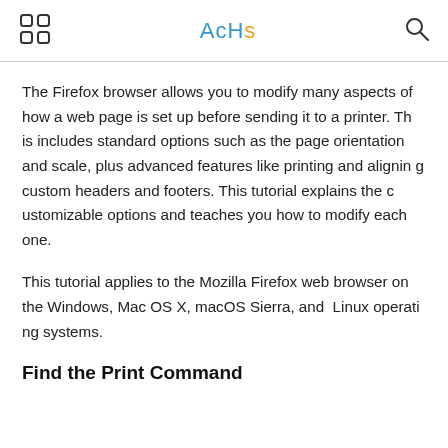AcHs
The Firefox browser allows you to modify many aspects of how a web page is set up before sending it to a printer. This includes standard options such as the page orientation and scale, plus advanced features like printing and aligning custom headers and footers. This tutorial explains the customizable options and teaches you how to modify each one.
This tutorial applies to the Mozilla Firefox web browser on the Windows, Mac OS X, macOS Sierra, and Linux operating systems.
Find the Print Command